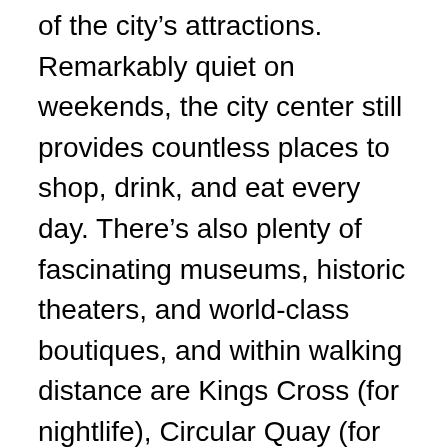of the city's attractions. Remarkably quiet on weekends, the city center still provides countless places to shop, drink, and eat every day. There's also plenty of fascinating museums, historic theaters, and world-class boutiques, and within walking distance are Kings Cross (for nightlife), Circular Quay (for transport), The Rocks (for restaurants) and Darling Harbour (for even more shopping). If that's not enough, trains and buses head from downtown to the beach at Bondi, and ferries chuff across the harbor to Manly.
Best Neighborhood for Shopping: